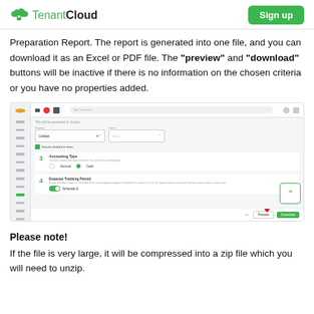TenantCloud | Sign up
Preparation Report. The report is generated into one file, and you can download it as an Excel or PDF file. The "preview" and "download" buttons will be inactive if there is no information on the chosen criteria or you have no properties added.
[Figure (screenshot): Screenshot of TenantCloud application showing a report preparation form with steps 3 (Accounting Type with Accrual/Cash radio buttons) and 4 (Expense Tracking Period with a toggle), and Preview/Download buttons with red arrows pointing to them.]
Please note!
If the file is very large, it will be compressed into a zip file which you will need to unzip.